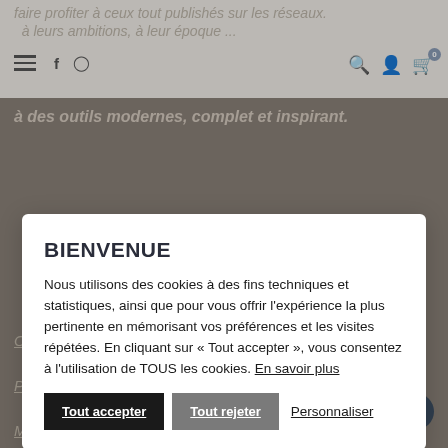Navigation bar with hamburger menu, Facebook and Instagram icons, search, account, and cart icons (badge: 0)
faire profiter à ceux tout publishés sur les réseaux. ... à leurs ambitions, à leur époque ... à des outils modernes, complet et inspirant.
BIENVENUE
Nous utilisons des cookies à des fins techniques et statistiques, ainsi que pour vous offrir l'expérience la plus pertinente en mémorisant vos préférences et les visites répétées. En cliquant sur «Tout accepter», vous consentez à l'utilisation de TOUS les cookies. En savoir plus
Tout accepter | Tout rejeter | Personnaliser
Offrir Nomoon en cadeau
Programme de fidélité
Marrainage
Besoin d'aide ? 🙂